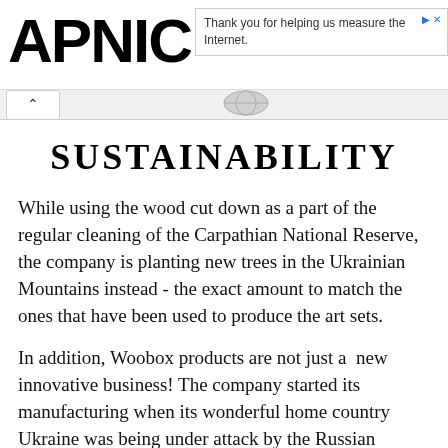APNIC — Thank you for helping us measure the Internet.
SUSTAINABILITY
While using the wood cut down as a part of the regular cleaning of the Carpathian National Reserve, the company is planting new trees in the Ukrainian Mountains instead - the exact amount to match the ones that have been used to produce the art sets.
In addition, Woobox products are not just a  new innovative business! The company started its manufacturing when its wonderful home country Ukraine was being under attack by the Russian